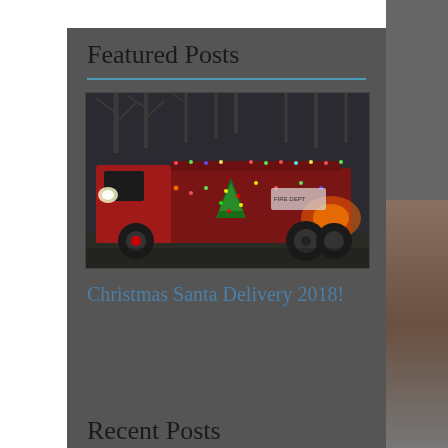Featured Posts
[Figure (photo): A red fire truck decorated with colorful Christmas lights, parked outdoors with bare trees in the background. A Christmas tree is visible in the truck's open compartment.]
Christmas Santa Delivery 2018!
Recent Posts